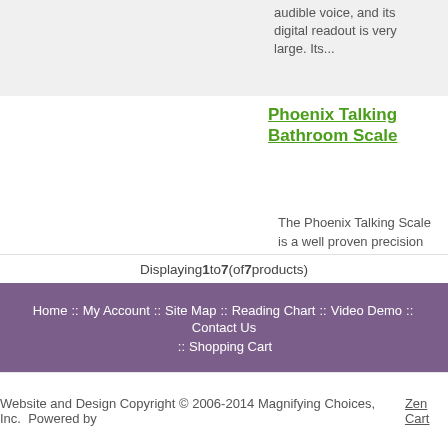audible voice, and its digital readout is very large. Its...
Phoenix Talking Bathroom Scale
The Phoenix Talking Scale is a well proven precision talking bathroom scale, which uses strain gauge technology to be incredibly accurate and precise. It's easy to use and has a modern style that will look good in any bathroom. The talking feature can be turned on or off (for those times you may...
$59.95
Displaying 1 to 7 (of 7 products)
Home :: My Account :: Site Map :: Reading Chart :: Video Demo :: Contact Us :: Shopping Cart
Website and Design Copyright © 2006-2014 Magnifying Choices, Inc.  Powered by Zen Cart